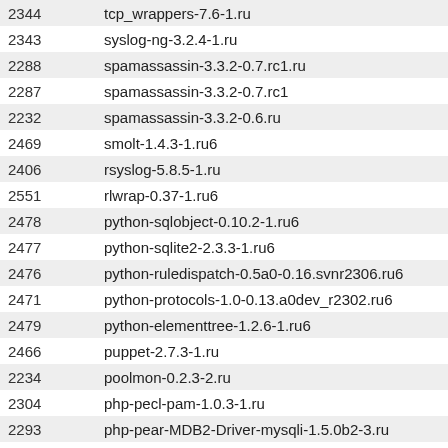| ID | Package |
| --- | --- |
| 2344 | tcp_wrappers-7.6-1.ru |
| 2343 | syslog-ng-3.2.4-1.ru |
| 2288 | spamassassin-3.3.2-0.7.rc1.ru |
| 2287 | spamassassin-3.3.2-0.7.rc1 |
| 2232 | spamassassin-3.3.2-0.6.ru |
| 2469 | smolt-1.4.3-1.ru6 |
| 2406 | rsyslog-5.8.5-1.ru |
| 2551 | rlwrap-0.37-1.ru6 |
| 2478 | python-sqlobject-0.10.2-1.ru6 |
| 2477 | python-sqlite2-2.3.3-1.ru6 |
| 2476 | python-ruledispatch-0.5a0-0.16.svnr2306.ru6 |
| 2471 | python-protocols-1.0-0.13.a0dev_r2302.ru6 |
| 2479 | python-elementtree-1.2.6-1.ru6 |
| 2466 | puppet-2.7.3-1.ru |
| 2234 | poolmon-0.2.3-2.ru |
| 2304 | php-pecl-pam-1.0.3-1.ru |
| 2293 | php-pear-MDB2-Driver-mysqli-1.5.0b2-3.ru |